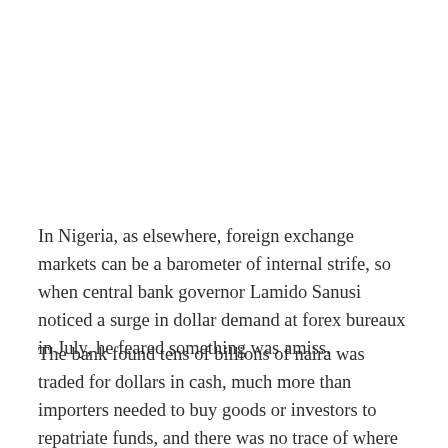In Nigeria, as elsewhere, foreign exchange markets can be a barometer of internal strife, so when central bank governor Lamido Sanusi noticed a surge in dollar demand at forex bureaux in July, he feared something was amiss.
The bank found tens of billions of naira was traded for dollars in cash, much more than importers needed to buy goods or investors to repatriate funds, and there was no trace of where the money came from or where it was